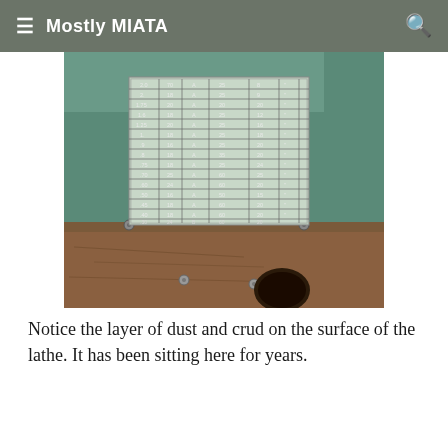≡ Mostly MIATA 🔍
[Figure (photo): Close-up photograph of a lathe gear/thread chart plate mounted on the green metal surface of a lathe machine. The plate shows a table of numbers with columns for thread settings, positions, and values. The surface shows significant dust and grime buildup.]
Notice the layer of dust and crud on the surface of the lathe.  It has been sitting here for years.